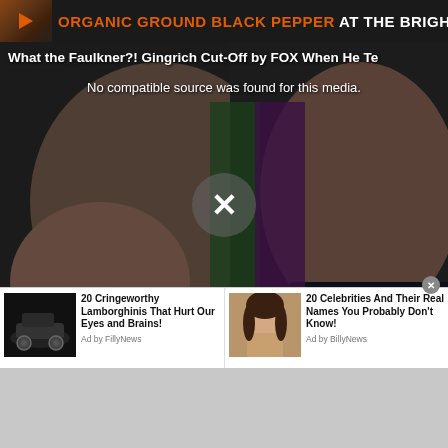[Figure (screenshot): Top ad banner: dark background with play button icon, bold orange text 'ORGANIC GROUND BLACK PEPPER' and white text 'AT THE BRIGHTEON ST']
[Figure (screenshot): Video player with two faces (elderly man on left waving, serious man on right) on dark background. Title: 'What the Faulkner?! Gingrich Cut-Off by FOX When He Te'. Error message: 'No compatible source was found for this media.' X dismiss button in center. Infolinks branding at bottom left. David Knight show watermark.]
[Figure (screenshot): Bottom ad strip with two sponsored items: '20 Cringeworthy Lamborghinis That Hurt Our Eyes and Brains!' (Ad by FillyNews) with car thumbnail, and '20 Celebrities And Their Real Names You Probably Don't Know!' (Ad by BillyNews) with woman portrait thumbnail. Close X button.]